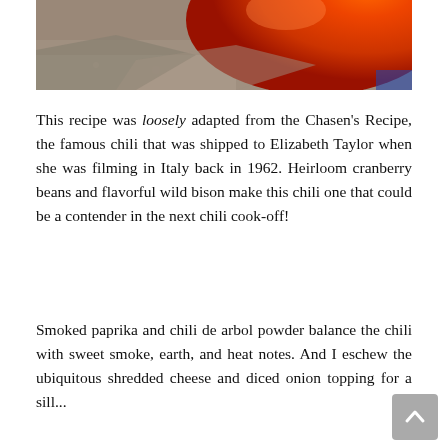[Figure (photo): Close-up photo of an orange/red chili pepper on rocky/sandy surface, cropped at top]
This recipe was loosely adapted from the Chasen's Recipe, the famous chili that was shipped to Elizabeth Taylor when she was filming in Italy back in 1962. Heirloom cranberry beans and flavorful wild bison make this chili one that could be a contender in the next chili cook-off!
Smoked paprika and chili de arbol powder balance the chili with sweet smoke, earth, and heat notes. And I eschew the ubiquitous shredded cheese and diced onion topping for a sill...